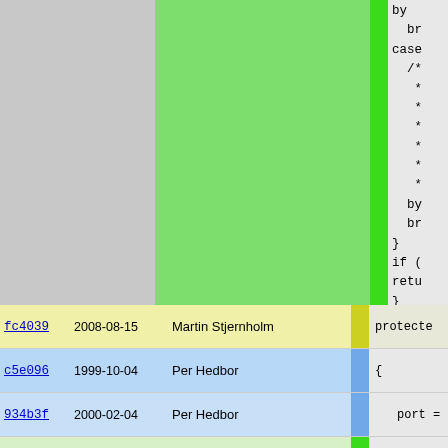[Figure (screenshot): Code blame view showing a source file with colored blame columns on the left (gray, green, bright green) and code on the right. The code shows switch/case/if/return statements in a monospace font on a light gray background.]
| hash | date | author |  | code |
| --- | --- | --- | --- | --- |
| fc4039 | 2008-08-15 | Martin Stjernholm |  | protecte |
| c5e096 | 1999-10-04 | Per Hedbor |  | { |
| 934b3f | 2000-02-04 | Per Hedbor |  | port = |
| d55e64 | 2005-03-02 | Henrik GrubbstrÃ¶m (Grubba) |  | ip = c |
| 934b3f | 2000-02-04 | Per Hedbor |  | restor |
| 03b7a2 | 2007-09-10 | Henrik GrubbstrÃ¶m (Grubba) |  | if (si
if( |